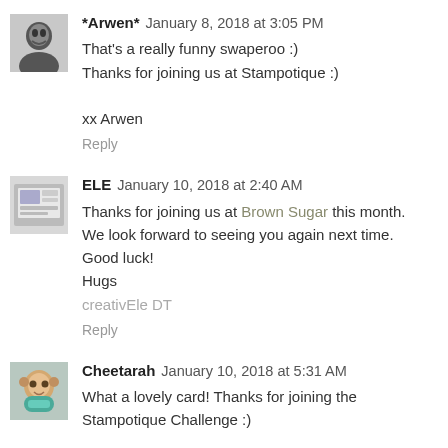*Arwen*  January 8, 2018 at 3:05 PM
That's a really funny swaperoo :)
Thanks for joining us at Stampotique :)

xx Arwen

Reply
ELE  January 10, 2018 at 2:40 AM
Thanks for joining us at Brown Sugar this month.
We look forward to seeing you again next time.
Good luck!
Hugs
creativEle DT

Reply
Cheetarah  January 10, 2018 at 5:31 AM
What a lovely card! Thanks for joining the Stampotique Challenge :)